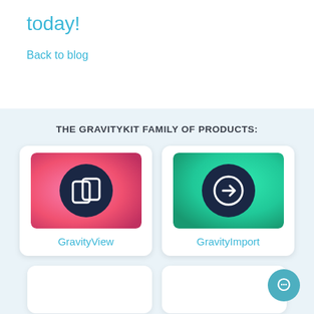today!
Back to blog
THE GRAVITYKIT FAMILY OF PRODUCTS:
[Figure (screenshot): GravityView product card with pink/red gradient background and dark circle icon showing two overlapping rectangles]
GravityView
[Figure (screenshot): GravityImport product card with teal/green gradient background and dark circle icon showing an arrow in a circle]
GravityImport